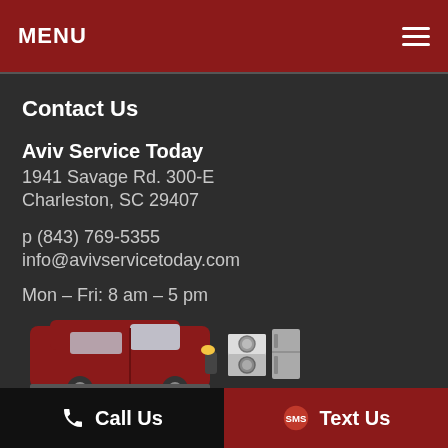MENU
Contact Us
Aviv Service Today
1941 Savage Rd. 300-E
Charleston, SC 29407
p (843) 769-5355
info@avivservicetoday.com
Mon – Fri: 8 am – 5 pm
[Figure (logo): Aviv Service Today logo with red van and appliances illustration, text AVIV SERVICE TODAY]
Call Us   Text Us